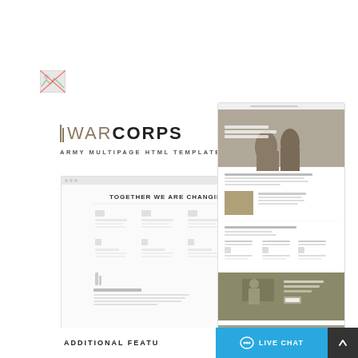[Figure (screenshot): Broken image icon placeholder in top-left area]
WARCORPS
ARMY MULTIPAGE HTML TEMPLATE
[Figure (screenshot): Left desktop mockup showing WarCorps website with 'Together We Are Changing The World' headline and content grid layout]
[Figure (screenshot): Right tall/mobile mockup showing WarCorps website with hero image of soldiers, body text sections, content rows, and olive-colored CTA banners]
ADDITIONAL FEATU
LIVE CHAT